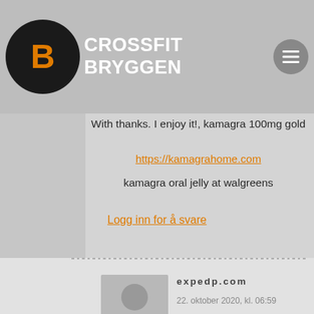CROSSFIT BRYGGEN
20. oktober 2020, kl. 19:29
With thanks. I enjoy it!, kamagra 100mg gold
https://kamagrahome.com
kamagra oral jelly at walgreens
Logg inn for å svare
expedp.com
22. oktober 2020, kl. 06:59
generic viagra 100mg
http://expedp.com/ Ynaoxf ttbtui
Logg inn for å svare
eduwritersx.com
22. oktober 2020, kl. 22:40